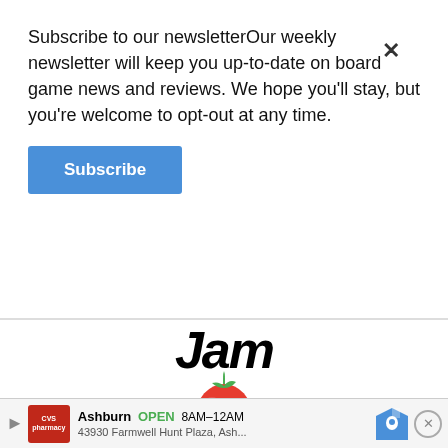Subscribe to our newsletterOur weekly newsletter will keep you up-to-date on board game news and reviews. We hope you'll stay, but you're welcome to opt-out at any time.
Subscribe
[Figure (logo): Letter Jam game logo with stylized italic 'Jam' text, a red strawberry image, text 'A COOPERATIVE WORD GAME', and a CGG badge]
Andrew: Cooperative word-building party games are a dime a dozen these days, right? Well, maybe not. But that is the best way I can really describe Letter Jam as players will try to help each other deduce the word that they are given to start the game. But you'll never get to look at your letters, just see how it is used to spell other words to easy enough t if you
Ashburn OPEN 8AM–12AM 43930 Farmwell Hunt Plaza, Ash...